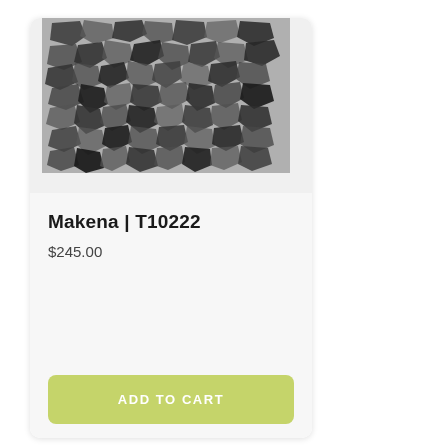[Figure (photo): A stone or pebble mosaic texture pattern in dark grey and white, showing irregular shaped stones arranged in a pattern.]
Makena | T10222
$245.00
ADD TO CART